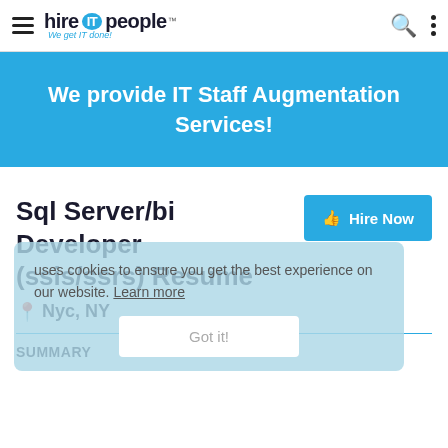hire IT people — We get IT done!
We provide IT Staff Augmentation Services!
Sql Server/bi Developer (ssis/ssrs) Resume
Nyc, NY
uses cookies to ensure you get the best experience on our website. Learn more
SUMMARY